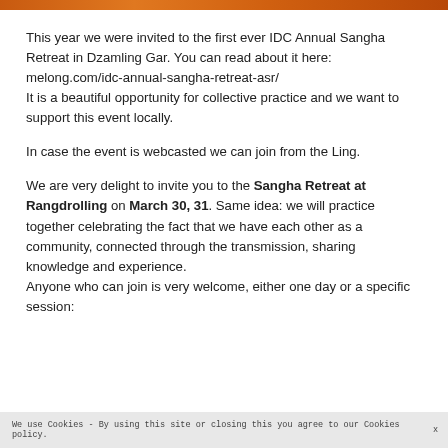[Figure (photo): Orange/warm colored image strip at top of page]
This year we were invited to the first ever IDC Annual Sangha Retreat in Dzamling Gar. You can read about it here: melong.com/idc-annual-sangha-retreat-asr/
It is a beautiful opportunity for collective practice and we want to support this event locally.
In case the event is webcasted we can join from the Ling.
We are very delight to invite you to the Sangha Retreat at Rangdrolling on March 30, 31. Same idea: we will practice together celebrating the fact that we have each other as a community, connected through the transmission, sharing knowledge and experience.
Anyone who can join is very welcome, either one day or a specific session:
We use Cookies - By using this site or closing this you agree to our Cookies policy.   x